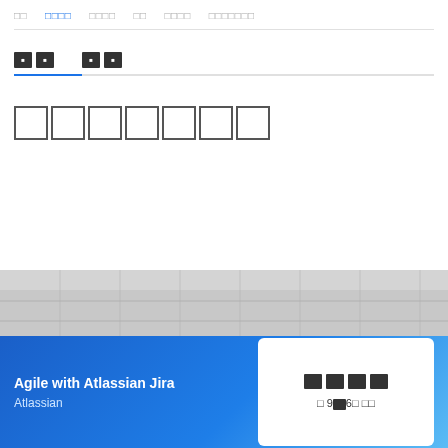□□  □□□□  □□□□  □□  □□□□  □□□□□□□
□□□□□□□
[Figure (photo): Architectural building facade, grayscale image strip]
Agile with Atlassian Jira
Atlassian
□□□□
□ 9□6□ □□